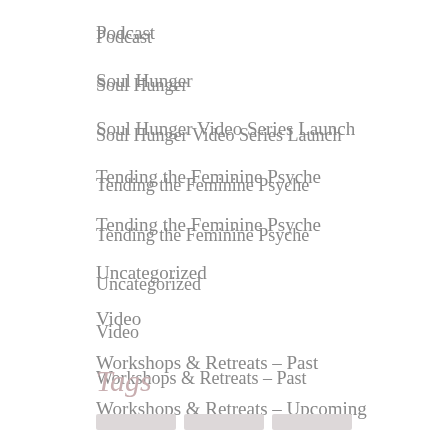Podcast
Soul Hunger
Soul Hunger Video Series Launch
Tending the Feminine Psyche
Tending the Feminine Psyche
Uncategorized
Video
Workshops & Retreats – Past
Workshops & Retreats – Upcoming
Tags